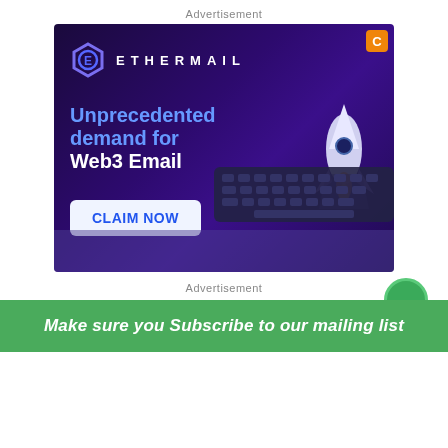Advertisement
[Figure (illustration): EtherMail advertisement banner with dark purple gradient background. Shows the EtherMail logo (hexagon icon with E) and brand name in spaced letters. Text reads 'Unprecedented demand for Web3 Email' with a 3D rocket graphic and laptop keyboard. White 'CLAIM NOW' button at bottom left. Orange C badge in top right corner.]
Advertisement
Make sure you Subscribe to our mailing list